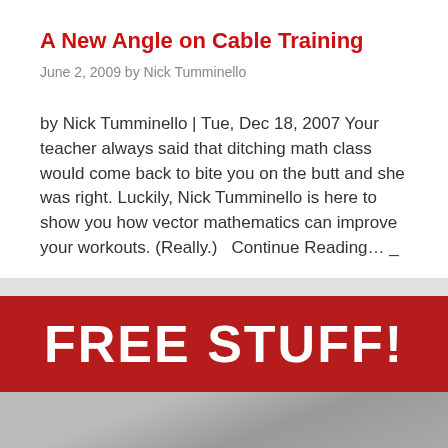A New Angle on Cable Training
June 2, 2009 by Nick Tumminello
by Nick Tumminello | Tue, Dec 18, 2007 Your teacher always said that ditching math class would come back to bite you on the butt and she was right. Luckily, Nick Tumminello is here to show you how vector mathematics can improve your workouts. (Really.)   Continue Reading… _
[Figure (infographic): Red banner with large bold white text reading FREE STUFF!]
[Figure (photo): Partial grayscale photo at the bottom of the page]